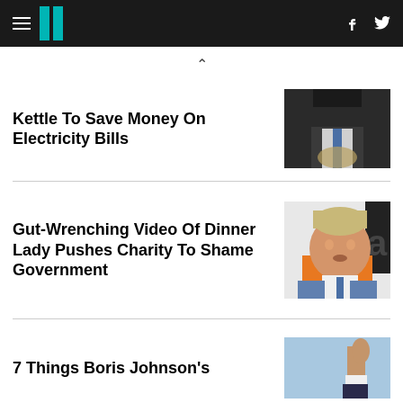HuffPost UK
Kettle To Save Money On Electricity Bills
[Figure (photo): Person in dark suit with a blue tie at a podium with a royal crest emblem]
Gut-Wrenching Video Of Dinner Lady Pushes Charity To Shame Government
[Figure (photo): Boris Johnson wearing an orange hi-vis vest, blond hair, looking ahead]
7 Things Boris Johnson's